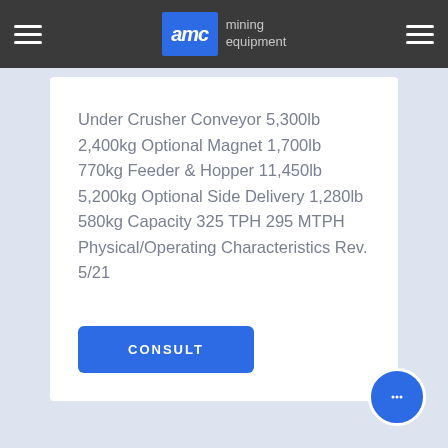AMC mining equipment
Under Crusher Conveyor 5,300lb 2,400kg Optional Magnet 1,700lb 770kg Feeder & Hopper 11,450lb 5,200kg Optional Side Delivery 1,280lb 580kg Capacity 325 TPH 295 MTPH Physical/Operating Characteristics Rev. 5/21